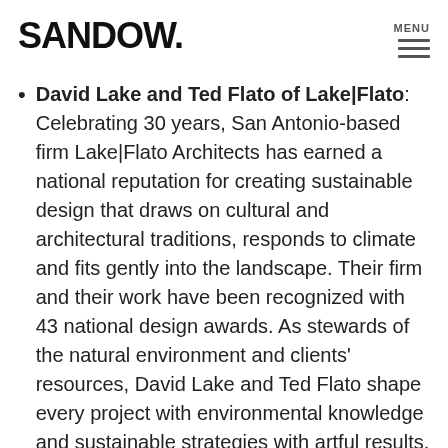SANDOW
David Lake and Ted Flato of Lake|Flato: Celebrating 30 years, San Antonio-based firm Lake|Flato Architects has earned a national reputation for creating sustainable design that draws on cultural and architectural traditions, responds to climate and fits gently into the landscape. Their firm and their work have been recognized with 43 national design awards. As stewards of the natural environment and clients' resources, David Lake and Ted Flato shape every project with environmental knowledge and sustainable strategies with artful results.